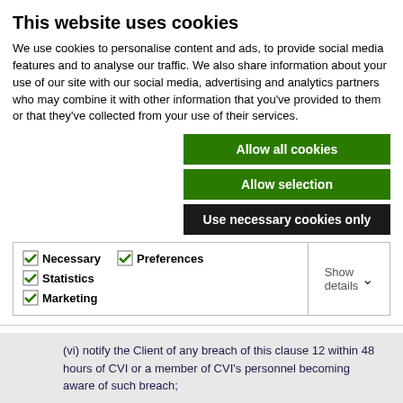This website uses cookies
We use cookies to personalise content and ads, to provide social media features and to analyse our traffic. We also share information about your use of our site with our social media, advertising and analytics partners who may combine it with other information that you've provided to them or that they've collected from your use of their services.
Allow all cookies
Allow selection
Use necessary cookies only
Necessary  Preferences  Statistics  Marketing  Show details
(vi) notify the Client of any breach of this clause 12 within 48 hours of CVI or a member of CVI’s personnel becoming aware of such breach;
(vii) at the written direction of the Client or the candidate, delete or return Personal Data and copies thereof to the candidate on termination of the agreement unless required by Applicable Law to store the Personal Data; and